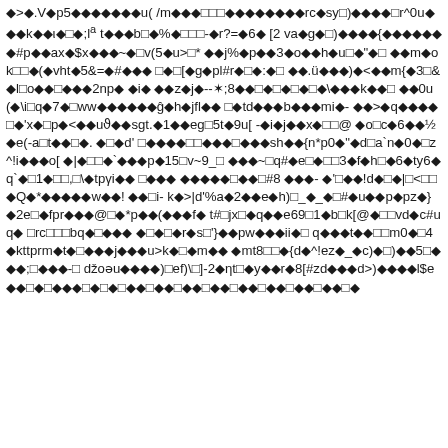◆>◆.V◆p5◆◆◆◆◆◆◆◆u(
/m◆◆◆▣▣▣◆◆◆◆◆◆◆◆rc◆sy▣)◆◆◆◆▣r^0u◆◆◆k◆◆ι◆▣◆;l^a
t◆◆◆b▣◆%◆▣▣▣-◆r?=◆6◆ [2
va◆g◆▣)◆◆◆◆{◆◆◆◆◆◆◆#p◆◆ax◆$x◆◆◆~◆▣v(5◆u>▣*
◆◆j%◆p◆◆3◆o◆◆h◆u▣◆"◆▣
◆◆m◆ok▣▣◆(◆vht◆5&=◆#◆◆◆ ▣◆▣[◆g◆pl#r◆▣◆:◆▣
◆◆.ü◆◆◆)◆<◆◆m{◆3▣&◆l▣o◆◆▣◆◆◆2np◆ ◆i◆
◆◆z◆j◆--✶;8◆◆▣◆▣◆▣◆▣◆\◆◆◆k◆◆▣
◆◆0u(◆\i▣q◆7◆▣ww◆◆◆◆◆◆ĝ◆h◆jfl◆◆
▣◆td◆◆◆b◆◆◆mi◆-
◆◆>◆q◆◆◆◆▣◆'x◆▣p◆<◆◆uϑ◆◆sgt.◆1◆◆eg▣5t◆9u[
-◆i◆j◆◆x◆▣▣@ ◆o▣c◆6◆◆½◆e(-a▣t◆◆▣◆. ◆▣◆d'
▣◆◆◆◆▣▣◆◆◆▣◆◆◆sh◆◆{n*p0◆"◆d▣a`n◆0◆▣z^!i◆◆◆o[
◆|◆▣▣◆`◆◆◆p◆15▣v~9_▣
◆◆◆~▣q#◆e▣◆▣▣3◆f◆h▣◆6◆ty6◆q`◆▣1◆▣▣,▣\◆tpγi◆◆
▣◆◆◆ ◆◆◆◆◆▣◆◆▣#8 ◆◆◆-
◆'▣◆◆!d◆▣◆|▣<▣▣◆Q◆*◆◆◆◆◆w◆◆! ◆◆▣i-
k◆>|d'%a◆2◆◆e◆h)▣_◆_◆▣#◆u◆◆p◆pz◆}
◆2e▣◆fpr◆◆◆@▣◆*p◆◆(◆◆◆f◆
t#▣jx▣◆q◆◆e69▣1◆b▣k[@◆▣▣vd◆c#uq◆ ▣rc▣▣▣bq◆▣◆◆◆
◆▣◆▣◆r◆s▣'}◆◆pw◆◆◆ii◆▣
q◆◆◆t◆◆▣▣m0◆▣4◆kttprm◆t◆▣◆◆◆j◆◆◆u>k◆▣◆m◆◆
◆mt8▣▣◆{d◆^!ez◆_◆c)◆▣)◆◆5▣◆◆◆;▣◆◆◆-▣
džoəu◆◆◆◆)▣ef)\▣]-2◆ηt▣◆y◆◆r◆8[#zd◆◆◆d>)◆◆◆◆l$e
◆◆▣◆▣◆◆◆▣◆▣◆▣◆◆▣◆◆▣◆◆▣◆◆▣◆◆▣◆◆▣◆◆▣◆◆▣◆